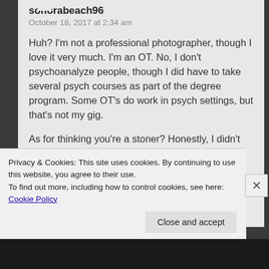sonorabeach96
October 18, 2017 at 2:34 am
Huh? I'm not a professional photographer, though I love it very much. I'm an OT. No, I don't psychoanalyze people, though I did have to take several psych courses as part of the degree program. Some OT's do work in psych settings, but that's not my gig.

As for thinking you're a stoner? Honestly, I didn't give a thought to that at all, and it doesn't really matter to me if you are or aren't. Yes, I enjoy marijuana. Yes, I'm a staunch voice of its health-related benefits, the benefits of decriminalization, and the benefits of a new
Privacy & Cookies: This site uses cookies. By continuing to use this website, you agree to their use.
To find out more, including how to control cookies, see here: Cookie Policy
Close and accept